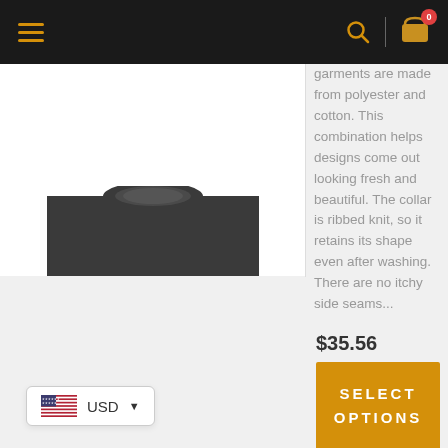Navigation bar with hamburger menu, search icon, divider, and cart icon with badge 0
[Figure (photo): Product photo of a dark gray crewneck sweatshirt top portion on white background]
garments are made from polyester and cotton. This combination helps designs come out looking fresh and beautiful. The collar is ribbed knit, so it retains its shape even after washing. There are no itchy side seams...
$35.56
SELECT OPTIONS
USD